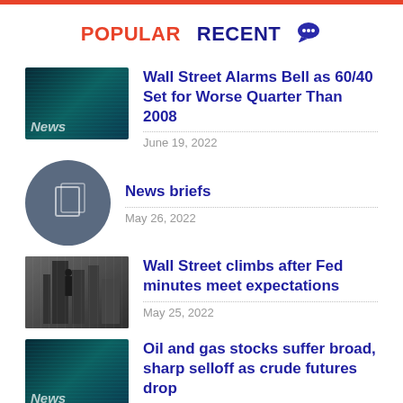POPULAR   RECENT
Wall Street Alarms Bell as 60/40 Set for Worse Quarter Than 2008
June 19, 2022
News briefs
May 26, 2022
Wall Street climbs after Fed minutes meet expectations
May 25, 2022
Oil and gas stocks suffer broad, sharp selloff as crude futures drop
June 22, 2022
Tech and crypto firms experienced massive layoffs in May. Here's how bad